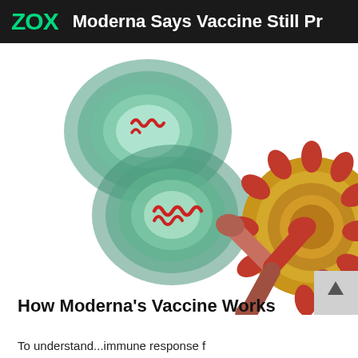ZOX  Moderna Says Vaccine Still Pr
[Figure (illustration): Medical illustration showing mRNA molecules (green cell-like shapes with red wavy lines inside), an antibody (Y-shaped salmon/red structure), and a coronavirus particle (yellow/tan sphere with red spike proteins) on a white background.]
How Moderna's Vaccine Works
To understand...immune response f